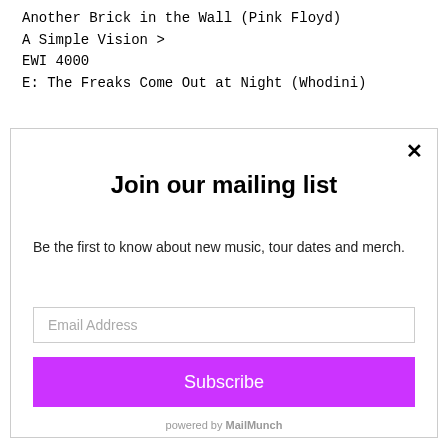Another Brick in the Wall (Pink Floyd)
A Simple Vision >
EWI 4000
E: The Freaks Come Out at Night (Whodini)
Join our mailing list
Be the first to know about new music, tour dates and merch.
Email Address
Subscribe
powered by MailMunch